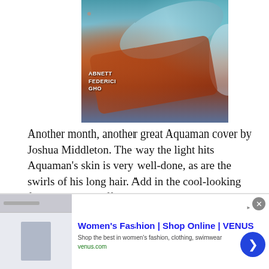[Figure (illustration): Comic book cover artwork for Aquaman. Credits text: ABNETT / FEDERICI / GHO. Shows an underwater scene with Aquaman and fish in teal and orange tones.]
Another month, another great Aquaman cover by Joshua Middleton. The way the light hits Aquaman's skin is very well-done, as are the swirls of his long hair. Add in the cool-looking fish to top it all off and this piece is just lovely.
[Figure (photo): Advertisement banner showing cargo airplane with American flag colors. Text: WITHOUT REGARD TO / POLITICS, RELIGION OR ABILITY TO PAY]
[Figure (photo): Second advertisement banner showing same cargo airplane with American flag colors.]
[Figure (screenshot): Bottom advertisement: Women's Fashion | Shop Online | VENUS. Shop the best in women's fashion, clothing, swimwear. venus.com]